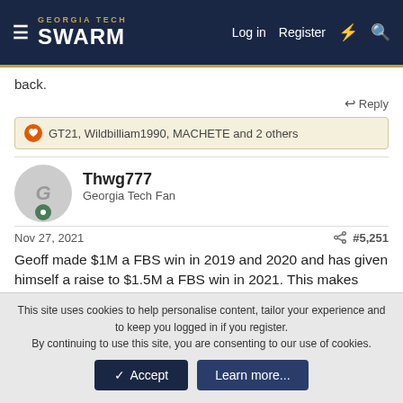GEORGIA TECH SWARM — Log in  Register
back.
↩ Reply
GT21, Wildbilliam1990, MACHETE and 2 others
Thwg777
Georgia Tech Fan
Nov 27, 2021   #5,251
Geoff made $1M a FBS win in 2019 and 2020 and has given himself a raise to $1.5M a FBS win in 2021. This makes Geoff one of the highest paid coaches in college football. We also paid
This site uses cookies to help personalise content, tailor your experience and to keep you logged in if you register.
By continuing to use this site, you are consenting to our use of cookies.